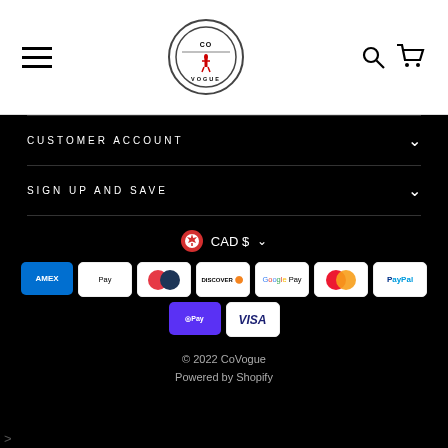[Figure (logo): CoVogue logo in a circle with hamburger menu on left and search/cart icons on right in white header]
CUSTOMER ACCOUNT
SIGN UP AND SAVE
CAD $
[Figure (infographic): Payment method icons: American Express, Apple Pay, Diners Club, Discover, Google Pay, Mastercard, PayPal, Shop Pay, Visa]
© 2022 CoVogue
Powered by Shopify